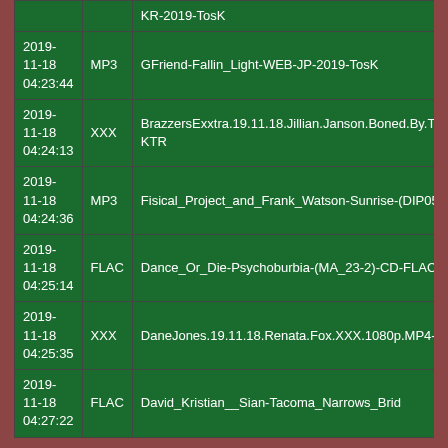| Date | Type | Name |
| --- | --- | --- |
|  |  | KR-2019-TosK |
| 2019-11-18 04:23:44 | MP3 | GFriend-Fallin_Light-WEB-JP-2019-TosK |
| 2019-11-18 04:24:13 | XXX | BrazzersExxtra.19.11.18.Jillian.Janson.Boned.By.The.Butler.Part.2.XXX.1080p.MP4-KTR |
| 2019-11-18 04:24:36 | MP3 | Fisical_Project_and_Frank_Watson-Sunrise-(DIP059)-SINGLE-WEB-2019-AFO |
| 2019-11-18 04:25:14 | FLAC | Dance_Or_Die-Psychoburbia-(MA_23-2)-CD-FLAC-1992-dL |
| 2019-11-18 04:25:35 | XXX | DaneJones.19.11.18.Renata.Fox.XXX.1080p.MP4-KTR |
| 2019-11-18 04:27:22 | FLAC | David_Kristian__Sian-Tacoma_Narrows_Brid... |